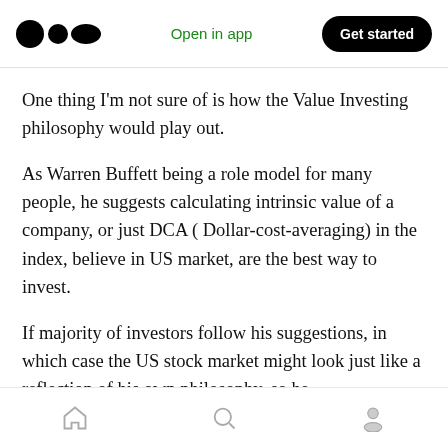Medium app header with logo, Open in app, Get started
One thing I’m not sure of is how the Value Investing philosophy would play out.
As Warren Buffett being a role model for many people, he suggests calculating intrinsic value of a company, or just DCA ( Dollar-cost-averaging) in the index, believe in US market, are the best way to invest.
If majority of investors follow his suggestions, in which case the US stock market might look just like a reflection of his own philosophy, so he
Bottom navigation: Home, Search, Profile